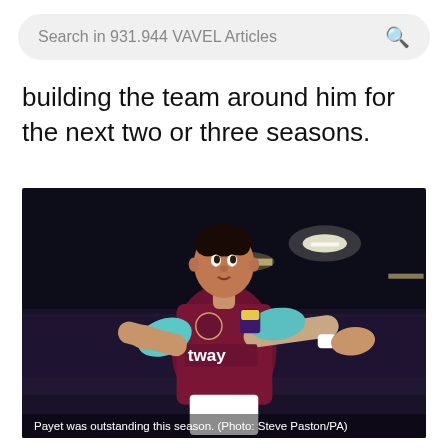Search in 931.944 VAVEL Articles
building the team around him for the next two or three seasons.
[Figure (photo): Dimitri Payet in West Ham United claret and blue kit, arms outstretched, celebrating on a football pitch at night.]
Payet was outstanding this season. (Photo: Steve Paston/PA)